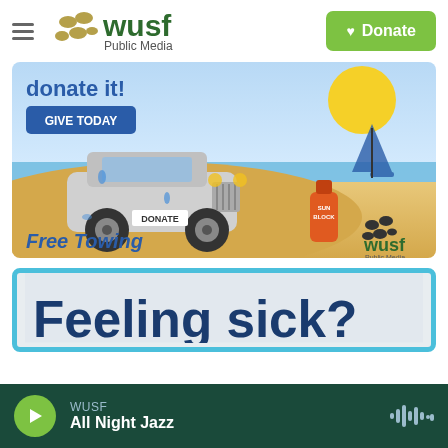WUSF Public Media — Donate
[Figure (illustration): WUSF Public Media car donation ad with illustrated Jeep on beach, sun, sailboat, sunblock bottle, 'donate it!', 'GIVE TODAY' button, 'Free Towing' text, WUSF logo]
[Figure (illustration): Partially visible advertisement with teal/cyan border, light gray background, bold navy text reading 'Feeling sick?']
WUSF — All Night Jazz (player bar with play button and waveform icon)